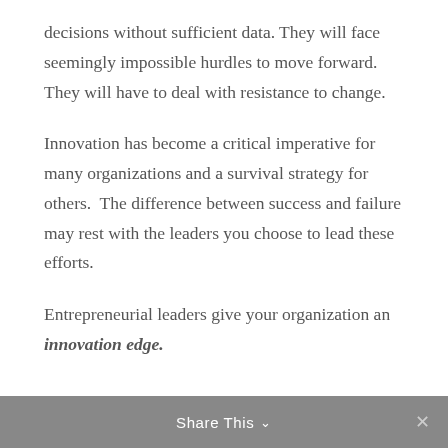decisions without sufficient data. They will face seemingly impossible hurdles to move forward.  They will have to deal with resistance to change.
Innovation has become a critical imperative for many organizations and a survival strategy for others.  The difference between success and failure may rest with the leaders you choose to lead these efforts.
Entrepreneurial leaders give your organization an innovation edge.
Share This ∨  ×